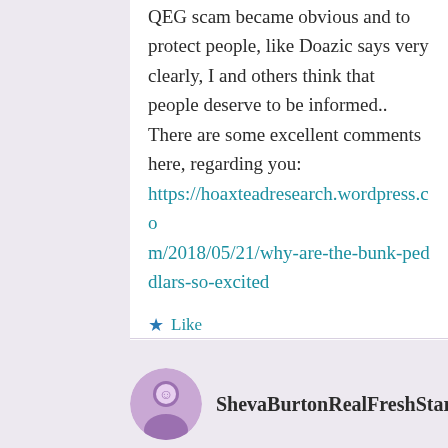QEG scam became obvious and to protect people, like Doazic says very clearly, I and others think that people deserve to be informed.. There are some excellent comments here, regarding you: https://hoaxteadresearch.wordpress.com/2018/05/21/why-are-the-bunk-peddlars-so-excited
Like
Reply
ShevaBurtonRealFreshStar